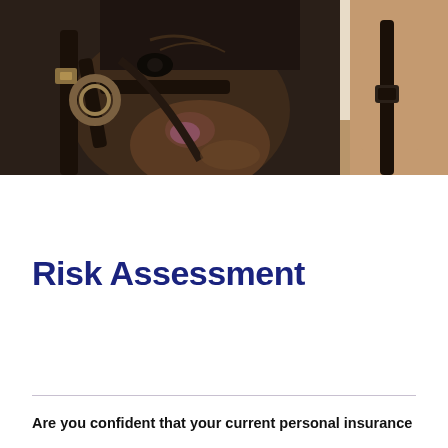[Figure (photo): Close-up photograph of a dark horse's head/face wearing a bridle and bit, with a person's hand visible on the right side]
Risk Assessment
Are you confident that your current personal insurance